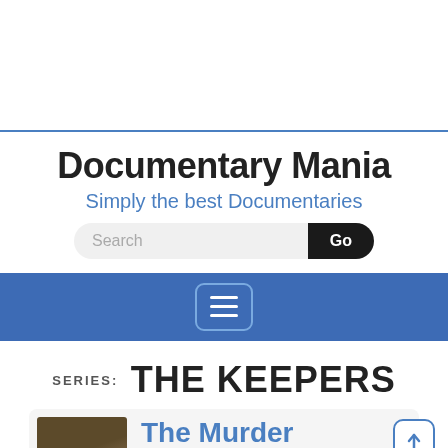Documentary Mania
Simply the best Documentaries
Search Go
[Figure (screenshot): Navigation bar with hamburger menu icon on blue background]
SERIES: THE KEEPERS
[Figure (screenshot): Card area showing book cover and title 'The Murder' in blue text]